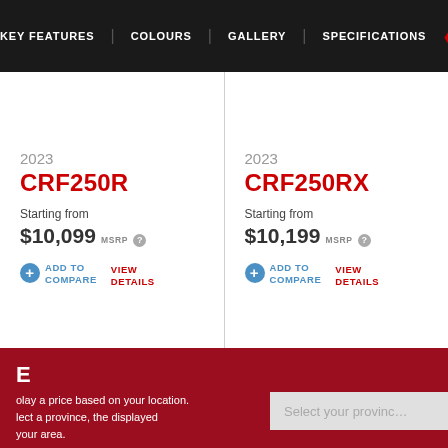KEY FEATURES   COLOURS   GALLERY   SPECIFICATIONS
2023
CRF250R
Starting from
$10,099 MSRP
ADD TO COMPARE
VIEW DETAILS
2023
CRF250RX
Starting from
$10,199 MSRP
ADD TO COMPARE
VIEW DETAILS
E
olay a price based on your location. lect a province, the displayed your area.
Select your province